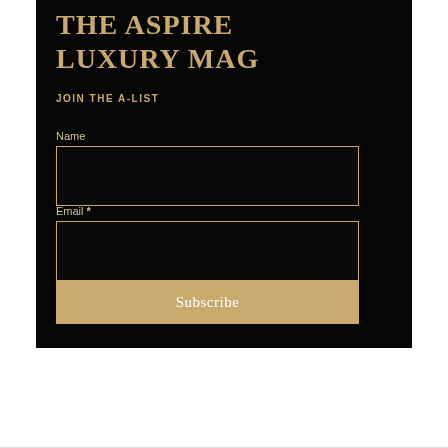THE ASPIRE LUXURY MAG
JOIN THE A-LIST
Name
Email *
Subscribe